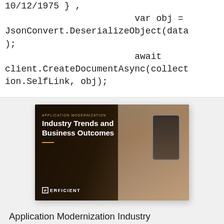10/12/1975 } ,
                        var obj =
JsonConvert.DeserializeObject(data
);
                        await
client.CreateDocumentAsync(collect
ion.SelfLink, obj);
[Figure (photo): Book cover for 'Application Modernization Industry Trends and Business Outcomes' by Perficient, featuring a person holding a smartphone against a dark background with golden/warm tones.]
Application Modernization Industry Quick Guides